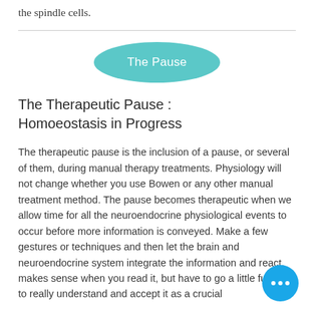the spindle cells.
[Figure (illustration): Teal oval/ellipse badge with white text reading 'The Pause']
The Therapeutic Pause : Homoeostasis in Progress
The therapeutic pause is the inclusion of a pause, or several of them, during manual therapy treatments. Physiology will not change whether you use Bowen or any other manual treatment method. The pause becomes therapeutic when we allow time for all the neuroendocrine physiological events to occur before more information is conveyed. Make a few gestures or techniques and then let the brain and neuroendocrine system integrate the information and react. makes sense when you read it, but have to go a little further to really understand and accept it as a crucial